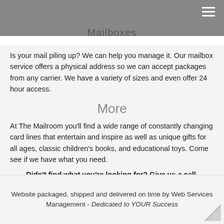Mailboxes
Is your mail piling up?  We can help you manage it.  Our mailbox service offers a physical address so we can accept packages from any carrier.  We have a variety of sizes and even offer 24 hour access.
More
At The Mailroom you'll find a wide range of constantly changing card lines that entertain and inspire as well as unique gifts for all ages, classic children's books, and educational toys.  Come see if we have what you need.
Didn't find what you're looking for?  Give us a call.
Durango –   +1 (970) 385-4494
Farmington –   +1 (505) 324-0084
Website packaged, shipped and delivered on time by Web Services Management - Dedicated to YOUR Success